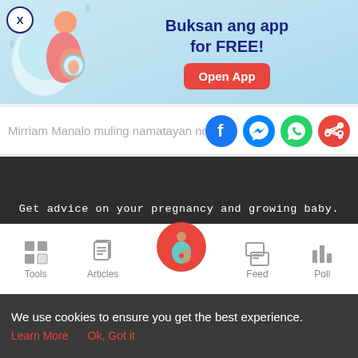[Figure (screenshot): App advertisement banner with illustration of pregnant woman, text 'Buksan ang app for FREE!' and red 'Open App' button, with an X close button]
Mirriam Manalo muling namatayan no
[Figure (infographic): Social share icons: Facebook (blue circle), Messenger (blue circle), WhatsApp (green circle), Share (red circle)]
Get advice on your pregnancy and growing baby.
Sign up for our newsletter
[Figure (screenshot): Email signup form with 'Your Email' placeholder text input and red 'GO' button]
[Figure (infographic): Bottom navigation bar with Tools (grid icon), Articles (clipboard icon), center pregnant woman icon in pink circle, Feed (chat bubble icon), Poll (bar chart icon)]
We use cookies to ensure you get the best experience.
Learn More   Ok, Got it